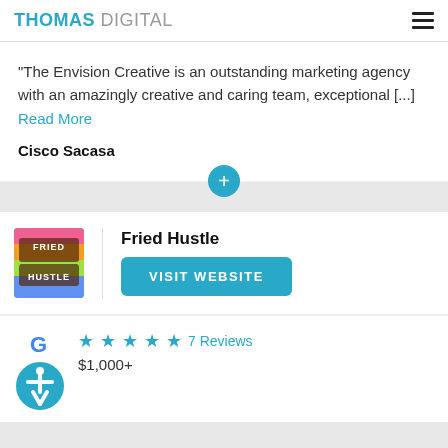THOMAS DIGITAL
"The Envision Creative is an outstanding marketing agency with an amazingly creative and caring team, exceptional [...] Read More
Cisco Sacasa
Fried Hustle
VISIT WEBSITE
7 Reviews
$1,000+